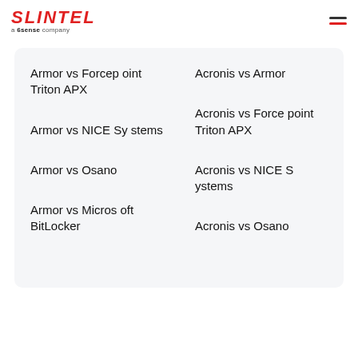SLINTEL a 6sense company
Armor vs Forcepoint Triton APX
Armor vs NICE Systems
Armor vs Osano
Armor vs Microsoft BitLocker
Acronis vs Armor
Acronis vs Forcepoint Triton APX
Acronis vs NICE Systems
Acronis vs Osano